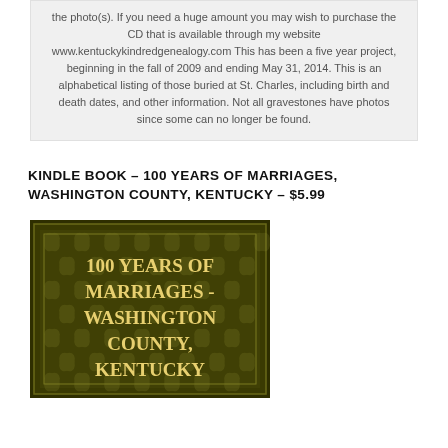the photo(s). If you need a huge amount you may wish to purchase the CD that is available through my website www.kentuckykindredgenealogy.com This has been a five year project, beginning in the fall of 2009 and ending May 31, 2014. This is an alphabetical listing of those buried at St. Charles, including birth and death dates, and other information. Not all gravestones have photos since some can no longer be found.
KINDLE BOOK – 100 YEARS OF MARRIAGES, WASHINGTON COUNTY, KENTUCKY – $5.99
[Figure (illustration): Book cover for '100 Years of Marriages - Washington County, Kentucky' with dark olive/brown background with decorative leaf pattern and cream/gold text]